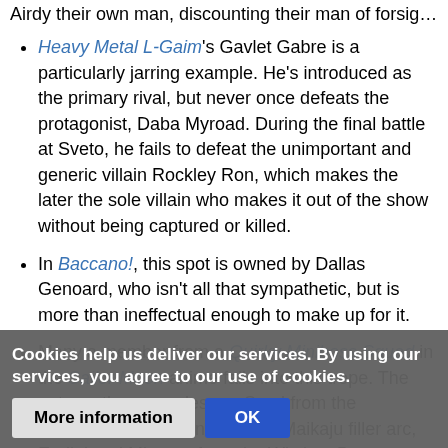Heavy Metal L-Gaim's Gavlet Gabre is a particularly jarring example. He's introduced as the primary rival, but never once defeats the protagonist, Daba Myroad. During the final battle at Sveto, he fails to defeat the unimportant and generic villain Rockley Ron, which makes the later the sole villain who makes it out of the show without being captured or killed.
In Baccano!, this spot is owned by Dallas Genoard, who isn't all that sympathetic, but is more than ineffectual enough to make up for it.
Many a member from a Quirky Miniboss Squad in the Sailor Moon anime falls into this trope. The noteworthy examples are Scud from the Shittenou, Ail and En from the Maikaju filler arc, Eudial and Mimette from the Witches 5, the... or Iron Mouse and Sailor Aluminum Siren from the Sailor Animates...
Cookies help us deliver our services. By using our services, you agree to our use of cookies.